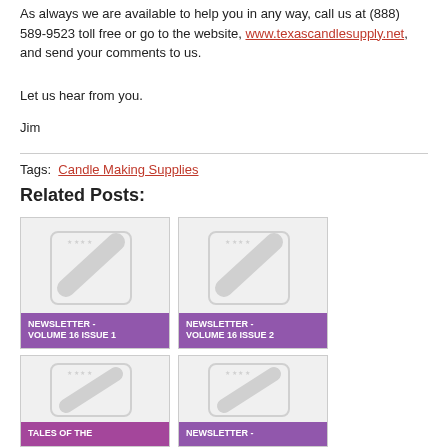As always we are available to help you in any way, call us at (888) 589-9523 toll free or go to the website, www.texascandlesupply.net, and send your comments to us.
Let us hear from you.
Jim
Tags:  Candle Making Supplies
Related Posts:
[Figure (illustration): Thumbnail placeholder image for NEWSLETTER - VOLUME 16 ISSUE 1 with purple label overlay]
[Figure (illustration): Thumbnail placeholder image for NEWSLETTER - VOLUME 16 ISSUE 2 with purple label overlay]
[Figure (illustration): Thumbnail placeholder image for TALES OF THE with purple label overlay (partially visible)]
[Figure (illustration): Thumbnail placeholder image for NEWSLETTER - with purple label overlay (partially visible)]